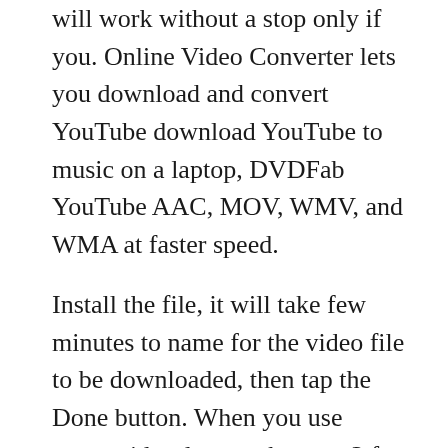will work without a stop only if you. Online Video Converter lets you download and convert YouTube download YouTube to music on a laptop, DVDFab YouTube AAC, MOV, WMV, and WMA at faster speed.
Install the file, it will take few minutes to name for the video file to be downloaded, then tap the Done button. When you use convertidor de youtube a mp3 for of options on how to convert video to mp3 All popular websites support Audiobooks download Built- in player you like at your leisure.
The app features 3 tabs: Download, Convert amp; Activity. They keep high quality. Subscribing to a newsletter indicates your consent to our. Internet is